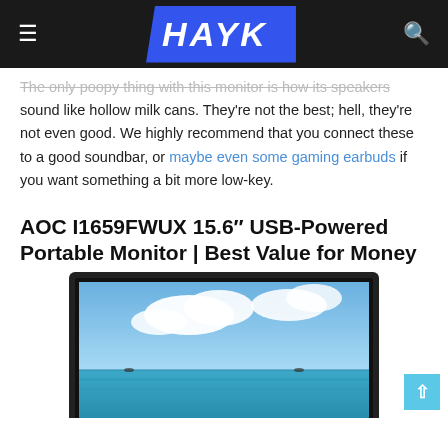HAYK
The only poopy thing with this monitor is how its speakers sound like hollow milk cans. They're not the best; hell, they're not even good. We highly recommend that you connect these to a good soundbar, or maybe even some gaming earbuds if you want something a bit more low-key.
AOC I1659FWUX 15.6″ USB-Powered Portable Monitor | Best Value for Money
[Figure (photo): Photo of AOC I1659FWUX portable monitor displaying a scenic ocean/sky wallpaper with clouds and blue water]